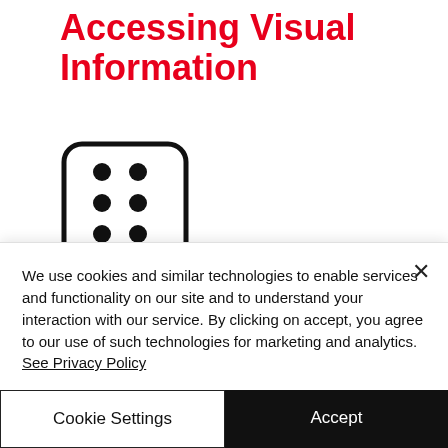Accessing Visual Information
[Figure (illustration): A braille cell icon showing a rounded square with 6 raised dots in a 2x3 grid pattern, representing braille reading.]
If you are going to use the pools regularly you might like to ask for a building familiarisation session. We can offer assistance and guidance to the changing areas, to the
We use cookies and similar technologies to enable services and functionality on our site and to understand your interaction with our service. By clicking on accept, you agree to our use of such technologies for marketing and analytics. See Privacy Policy
Cookie Settings
Accept